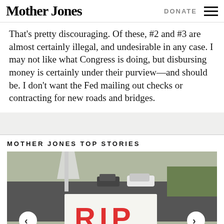Mother Jones | DONATE
That's pretty discouraging. Of these, #2 and #3 are almost certainly illegal, and undesirable in any case. I may not like what Congress is doing, but disbursing money is certainly under their purview—and should be. I don't want the Fed mailing out checks or contracting for new roads and bridges.
MOTHER JONES TOP STORIES
[Figure (photo): Outdoor protest scene showing a white sign with 'RIP' written in red letters, held near a road with cars and trees in the background. Carousel navigation arrows visible on left and right sides.]